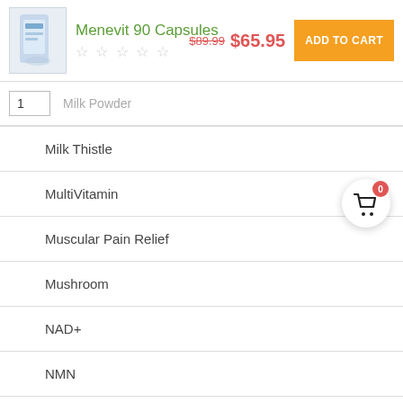[Figure (screenshot): Product listing for Menevit 90 Capsules with image, star rating, pricing ($89.99 crossed out, $65.95), and Add to Cart button]
Menevit 90 Capsules
$89.99  $65.95
ADD TO CART
1
Milk Powder
Milk Thistle
MultiVitamin
Muscular Pain Relief
Mushroom
NAD+
NMN
Nougat
English